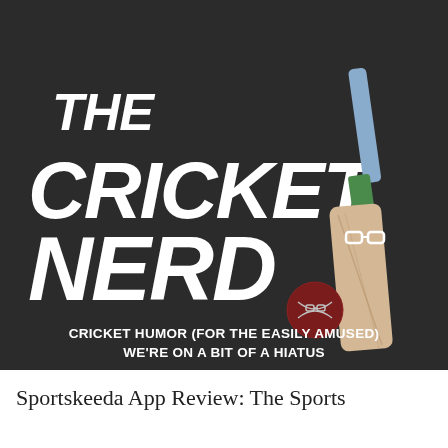[Figure (logo): The Cricket Nerd logo: dark background with large stylized white block letters reading 'THE CRICKET NERD', with an illustrated cricket bat character wearing glasses and a red cricket ball. Subtitle text reads 'CRICKET HUMOR (FOR THE EASILY AMUSED) WE'RE ON A BIT OF A HIATUS'.]
Sportskeeda App Review: The Sports